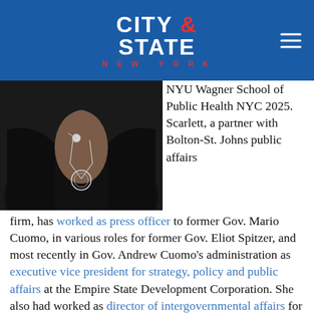CITY & STATE NEW YORK
[Figure (photo): Close-up photo of a person wearing a black blazer and a silver necklace with a circular pendant]
NYU Wagner School of Public Health NYC 2025. Scarlett, a partner with Bolton-St. Johns public affairs firm, has worked as press officer to former Gov. Mario Cuomo, in various roles for former Gov. Eliot Spitzer, and most recently in Gov. Andrew Cuomo's administration as executive vice president for strategy, policy and public affairs at the Empire State Development Corporation. She also had worked as director of intergovernmental affairs for Cuomo when he was attorney general. At Bolton-St. Johns,